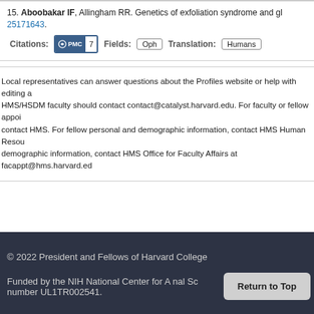15. Aboobakar IF, Allingham RR. Genetics of exfoliation syndrome and gl... 25171643.
Citations: PMC 7   Fields: Oph   Translation: Humans
Local representatives can answer questions about the Profiles website or help with editing a... HMS/HSDM faculty should contact contact@catalyst.harvard.edu. For faculty or fellow appoi... contact HMS. For fellow personal and demographic information, contact HMS Human Resou... demographic information, contact HMS Office for Faculty Affairs at facappt@hms.harvard.ed...
© 2022 President and Fellows of Harvard College
Funded by the NIH National Center for A... number UL1TR002541.